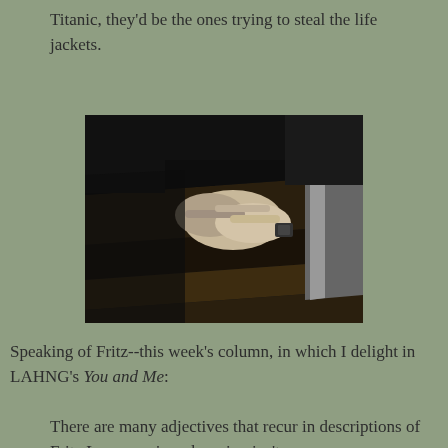Titanic, they'd be the ones trying to steal the life jackets.
[Figure (photo): Black and white photograph of two hands clasped together, gripping what appears to be a wooden railing or pew, with a wristwatch visible on one wrist.]
Speaking of Fritz--this week's column, in which I delight in LAHNG's You and Me:
There are many adjectives that recur in descriptions of Fritz Lang movies; charming isn't